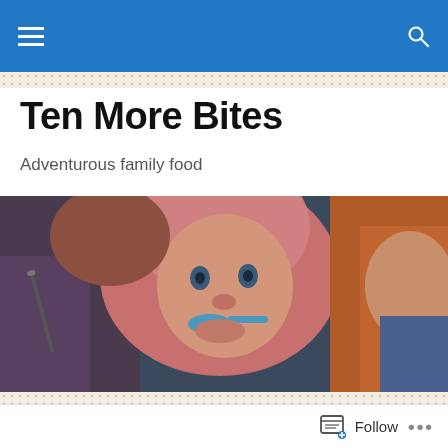Ten More Bites — navigation bar
Ten More Bites
Adventurous family food
[Figure (photo): Close-up photo of a young child with a blue spoon in their mouth, wearing a pink hooded jacket, with another child partially visible on the right.]
TAGGED WITH GREEN BEANS
Bean and pea salad with miso dressing
Follow